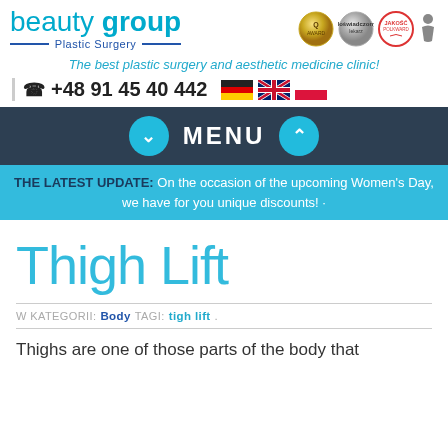[Figure (logo): Beauty Group Plastic Surgery logo with certification badges]
The best plastic surgery and aesthetic medicine clinic!
+48 91 45 40 442
[Figure (other): Navigation menu bar with MENU label and arrow buttons]
THE LATEST UPDATE: On the occasion of the upcoming Women's Day, we have for you unique discounts! 🌷
Thigh Lift
W KATEGORII: Body TAGI: tigh lift.
Thighs are one of those parts of the body that